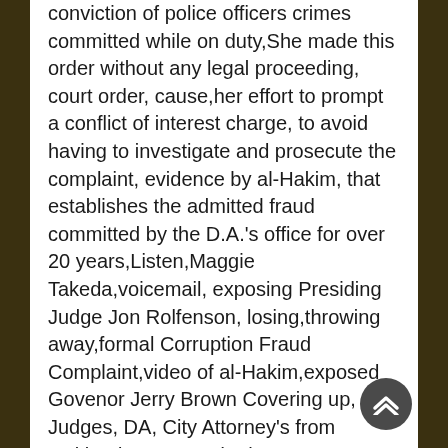conviction of police officers crimes committed while on duty,She made this order without any legal proceeding, court order, cause,her effort to prompt a conflict of interest charge, to avoid having to investigate and prosecute the complaint, evidence by al-Hakim, that establishes the admitted fraud committed by the D.A.'s office for over 20 years,Listen,Maggie Takeda,voicemail, exposing Presiding Judge Jon Rolfenson, losing,throwing away,formal Corruption Fraud Complaint,video of al-Hakim,exposed Govenor Jerry Brown Covering up, Judges, DA, City Attorney's from Oakland,San Leandro,he was suppose to Investigate,Fraud, Watch the story with video and documents,the late, great, Gil Scott-Herron, you can watch,OCCUPY RE-EVOLUTION, from the comfort of your home,away,24/7, live television feed,OCCUPY OAKLAND,OCCUPY Movements, around the world,the Nowtruth.org, website,Crooked former Oakland City Attorney John Russo,forced to resign, constant three year barrage,fact laden reports of fraud and corruption, by Abdul-Jalil al-Hakim,appointed,Alameda city manager,sources have confirmed,has over 100,000